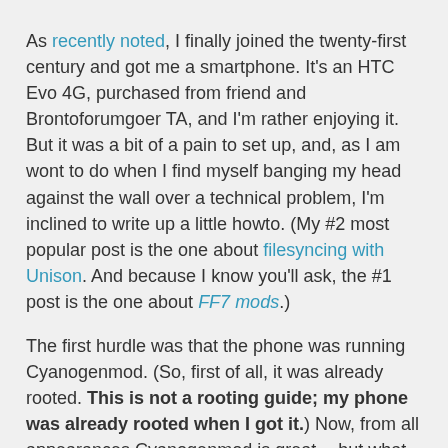As recently noted, I finally joined the twenty-first century and got me a smartphone. It's an HTC Evo 4G, purchased from friend and Brontoforumgoer TA, and I'm rather enjoying it. But it was a bit of a pain to set up, and, as I am wont to do when I find myself banging my head against the wall over a technical problem, I'm inclined to write up a little howto. (My #2 most popular post is the one about filesyncing with Unison. And because I know you'll ask, the #1 post is the one about FF7 mods.)
The first hurdle was that the phone was running Cyanogenmod. (So, first of all, it was already rooted. This is not a rooting guide; my phone was already rooted when I got it.) Now, from all appearances Cyanogenmod is great -- but what TA and I didn't know is that you can't activate your phone with Cyanogenmod on it.